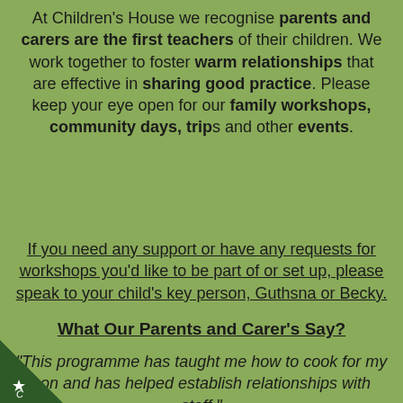At Children's House we recognise parents and carers are the first teachers of their children. We work together to foster warm relationships that are effective in sharing good practice. Please keep your eye open for our family workshops, community days, trips and other events.
If you need any support or have any requests for workshops you'd like to be part of or set up, please speak to your child's key person, Guthsna or Becky.
What Our Parents and Carer's Say?
"This programme has taught me how to cook for my son and has helped establish relationships with staff."
[Figure (logo): Dark green triangle in the bottom-left corner with a white star/badge icon and letter C]